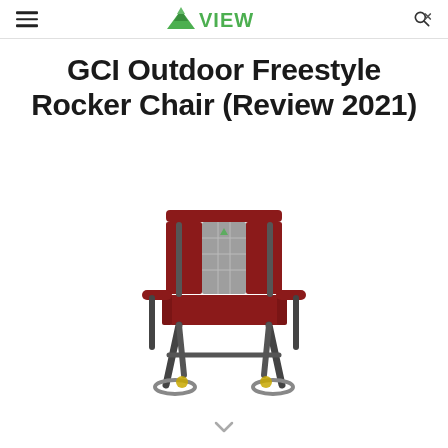VIEW
GCI Outdoor Freestyle Rocker Chair (Review 2021)
[Figure (photo): A red and gray GCI Outdoor Freestyle Rocker chair with dark metal frame, armrests, and rocker base, viewed from a slight front angle.]